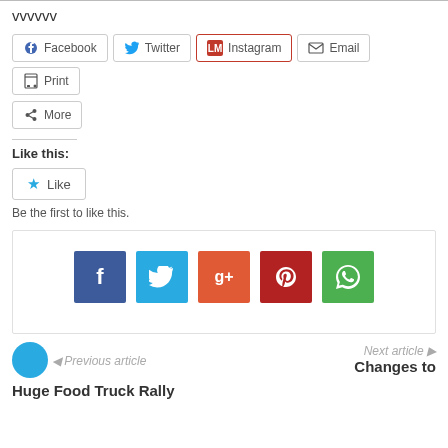vvvvvv
[Figure (infographic): Share buttons row: Facebook, Twitter, Instagram, Email, Print, More]
Like this:
[Figure (infographic): Like button with star icon and 'Be the first to like this.' text]
[Figure (infographic): Social sharing box with icons: Facebook (f), Twitter (bird), Google+ (g+), Pinterest (p), WhatsApp (phone)]
Previous article
Huge Food Truck Rally
Next article
Changes to